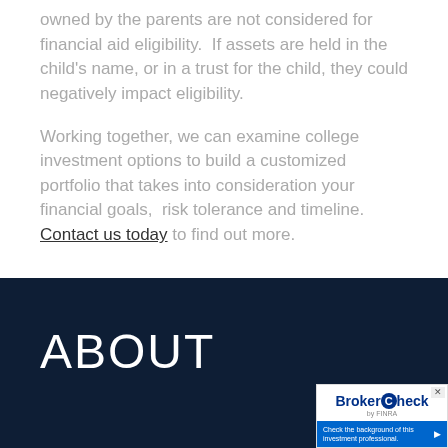owned by the parents are not considered for financial aid eligibility.  If assets are held in the child's name, or in a trust for the child, they could negatively impact eligibility.
Working together, we can examine college investment options to build a customized portfolio that takes into consideration your financial goals,  risk tolerance and timeline. Contact us today to find out more.
ABOUT
[Figure (other): BrokerCheck by FINRA widget with text 'Check the background of this investment professional.' and a blue arrow button]